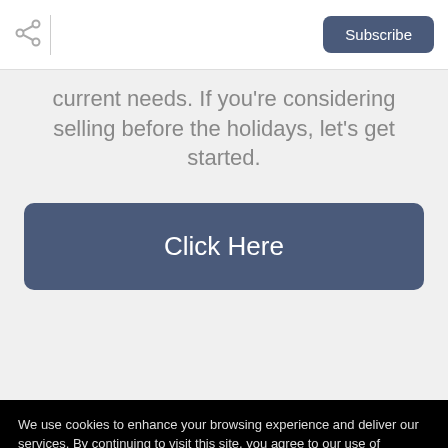[Figure (other): Share icon (network/share symbol) in top left of header bar]
Subscribe
current needs. If you're considering selling before the holidays, let's get started.
Click Here
We use cookies to enhance your browsing experience and deliver our services. By continuing to visit this site, you agree to our use of cookies. More info
OK